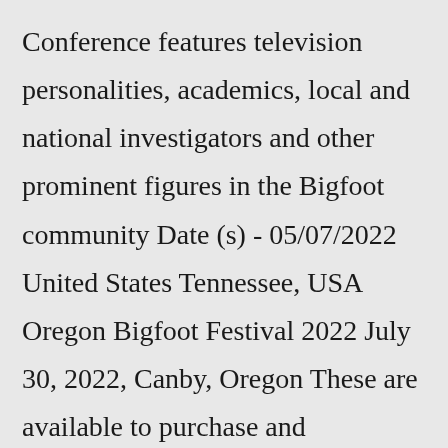Conference features television personalities, academics, local and national investigators and other prominent figures in the Bigfoot community Date (s) - 05/07/2022 United States Tennessee, USA Oregon Bigfoot Festival 2022 July 30, 2022, Canby, Oregon These are available to purchase and customers will vote for their favorite … UK Festival Guide 2022: 30 Festivals Guaranteed To Make Summer